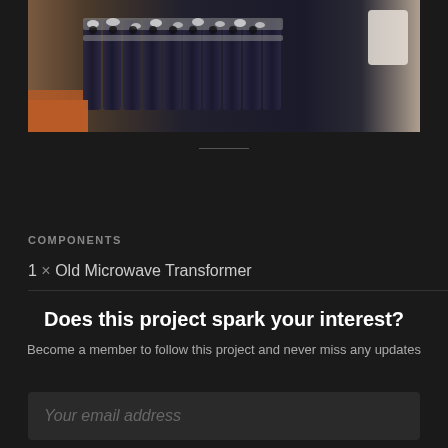[Figure (photo): Close-up photo of electronic components — appears to be battery cells or cylindrical components arranged in rows with metallic connectors on top, placed on an orange/red surface.]
COMPONENTS
1 × Old Microwave Transformer
Does this project spark your interest?
Become a member to follow this project and never miss any updates
Your email address